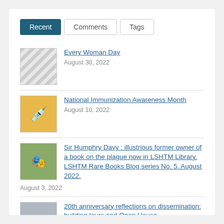Recent | Comments | Tags
Every Woman Day
August 30, 2022
National Immunization Awareness Month
August 10, 2022
Sir Humphry Davy : illustrious former owner of a book on the plague now in LSHTM Library. LSHTM Rare Books Blog series No. 5. August 2022.
August 3, 2022
20th anniversary reflections on dissemination: building tours and Open House
July 21, 2022